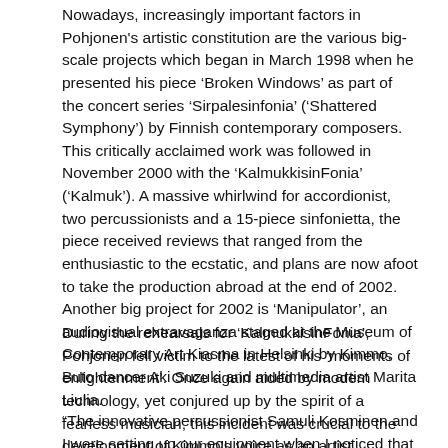Nowadays, increasingly important factors in Pohjonen's artistic constitution are the various big-scale projects which began in March 1998 when he presented his piece ‘Broken Windows’ as part of the concert series ‘Sirpalesinfonia’ (‘Shattered Symphony’) by Finnish contemporary composers. This critically acclaimed work was followed in November 2000 with the ‘KalmukkisinFonia’ (‘Kalmuk’). A massive whirlwind for accordionist, two percussionists and a 15-piece sinfonietta, the piece received reviews that ranged from the enthusiastic to the ecstatic, and plans are now afoot to take the production abroad at the end of 2002. Another big project for 2002 is ‘Manipulator’, an audiovisual extravaganza staged at the Museum of Contemporary Art Kiasma in Helsinki by Kimmo, Buto dancer Aki Suzuki and multimedia artist Marita Liulia.
During the rehearsals for ‘KalmukkisinFonia’, Pohjonen fell victim to the latest of his ‘moments of enlightenment’. Once again aided by modern technology, yet conjured up by the spirit of a fearless musician, this incident was crucial to the development of Kimmo’s voice as an artist.
“The innovative percussionist Samuli Kosminen and I were setting up our equipment when I noticed that he had the new